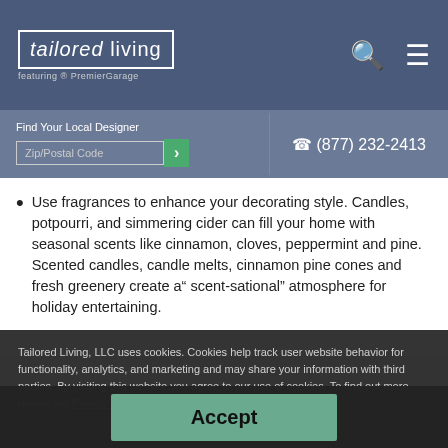tailored living featuring PremierGarage
Find Your Local Designer
Zip/Postal Code
(877) 232-2413
Use fragrances to enhance your decorating style. Candles, potpourri, and simmering cider can fill your home with seasonal scents like cinnamon, cloves, peppermint and pine. Scented candles, candle melts, cinnamon pine cones and fresh greenery create a“ scent-sational” atmosphere for holiday entertaining.
Tailored Living, LLC uses cookies. Cookies help track user website behavior for functionality, analytics, and marketing and may share your information with third parties. By visiting this website you agree to our use of cookies. To find out more review our Privacy Policy.
Accept